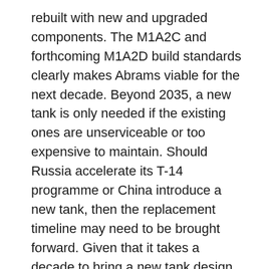rebuilt with new and upgraded components. The M1A2C and forthcoming M1A2D build standards clearly makes Abrams viable for the next decade. Beyond 2035, a new tank is only needed if the existing ones are unserviceable or too expensive to maintain. Should Russia accelerate its T-14 programme or China introduce a new tank, then the replacement timeline may need to be brought forward. Given that it takes a decade to bring a new tank design into service, new development programmes have already begun.
The overriding requirement for the next generation of tanks is improved deployability and agility. This means reducing their weight. As discussed above, tanks with a mass above 70